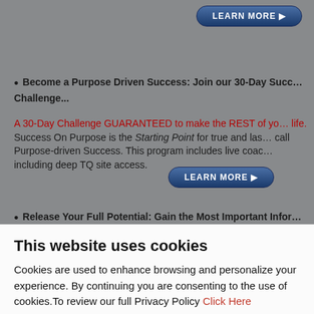[Figure (other): LEARN MORE button at top right, blue pill-shaped button with white text]
Become a Purpose Driven Success: Join our 30-Day Success Challenge...
A 30-Day Challenge GUARANTEED to make the REST of your life. Success On Purpose is the Starting Point for true and lasting what we call Purpose-driven Success. This program includes live coaching including deep TQ site access.
[Figure (other): LEARN MORE button, blue pill-shaped button with white text]
Release Your Full Potential: Gain the Most Important Info...
This website uses cookies
Cookies are used to enhance browsing and personalize your experience. By continuing you are consenting to the use of cookies.To review our full Privacy Policy Click Here
Okay, thanks